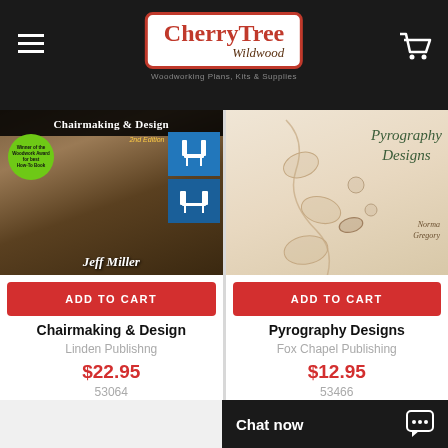[Figure (screenshot): CherryTree Wildwood website header with hamburger menu, logo, and shopping cart icon]
[Figure (photo): Book cover: Chairmaking & Design, 2nd Edition by Jeff Miller, with woodworking photo and blue chair panels]
[Figure (photo): Book cover: Pyrography Designs by Norma Gregory, with floral pyrography artwork]
ADD TO CART
ADD TO CART
Chairmaking & Design
Pyrography Designs
Linden Publishng
Fox Chapel Publishing
$22.95
$12.95
53064
53466
Chat now